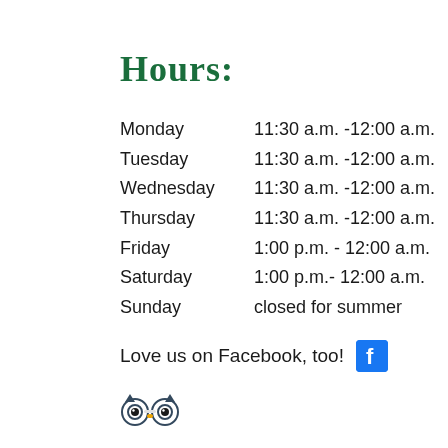Hours:
| Monday | 11:30 a.m. -12:00 a.m. |
| Tuesday | 11:30 a.m. -12:00 a.m. |
| Wednesday | 11:30 a.m. -12:00 a.m. |
| Thursday | 11:30 a.m. -12:00 a.m. |
| Friday | 1:00 p.m. - 12:00 a.m. |
| Saturday | 1:00 p.m.- 12:00 a.m. |
| Sunday | closed for summer |
Love us on Facebook, too!
[Figure (logo): TripAdvisor owl logo icon]